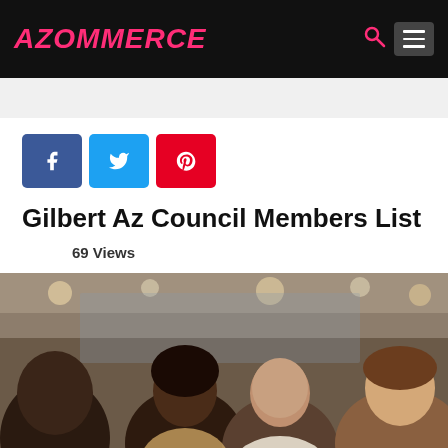AZOMMERCE
[Figure (photo): Group of people in a business meeting, sitting together in discussion in an office/lobby environment]
Gilbert Az Council Members List
69 Views